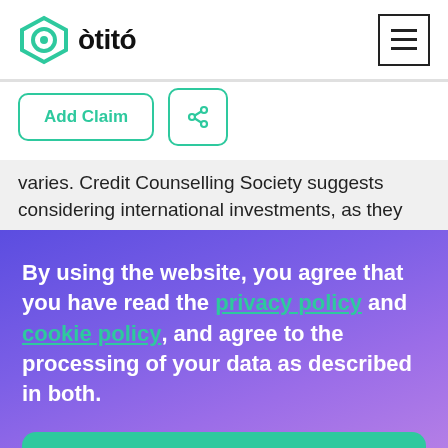òtitó
varies. Credit Counselling Society suggests considering international investments, as they
By using the website, you agree that you have read the privacy policy and cookie policy, and agree to the processing of your data as described in both.